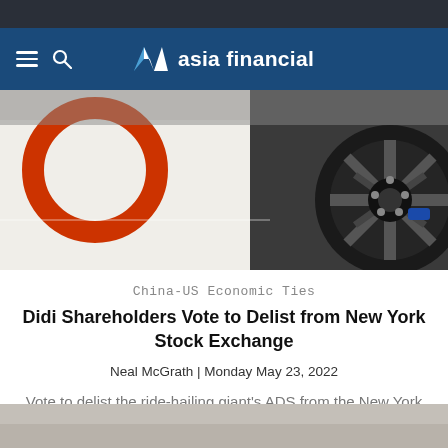asia financial
[Figure (photo): Close-up photo of a white car showing a Didi orange-red logo circle on the door and a black alloy wheel with blue brake caliper visible]
China-US Economic Ties
Didi Shareholders Vote to Delist from New York Stock Exchange
Neal McGrath | Monday May 23, 2022
Vote to delist the ride-hailing giant's ADS from the New York Stock Exchange ends saga after 2021 listing drew Beijing's ire.
[Figure (photo): Partial bottom strip of another photo visible at the bottom of the page]